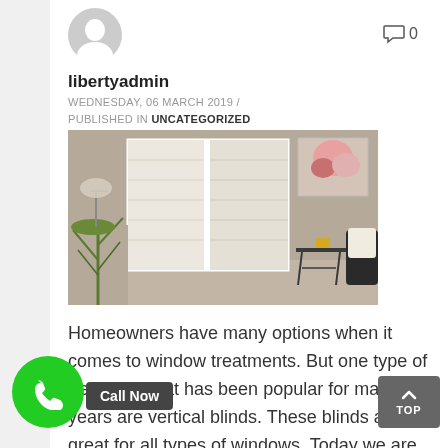[Figure (illustration): Generic user avatar icon — grey circle with white silhouette of a person]
0
libertyadmin
WEDNESDAY, 06 MARCH 2019 / PUBLISHED IN UNCATEGORIZED
[Figure (photo): Interior room photo showing white plantation shutters on a window, a tall plant, a wall painting of flowers, a small side table, and a dark chair with a white pillow]
Homeowners have many options when it comes to window treatments.  But one type of treatment that has been popular for many years are vertical blinds.  These blinds are great for all types of windows. Today we are